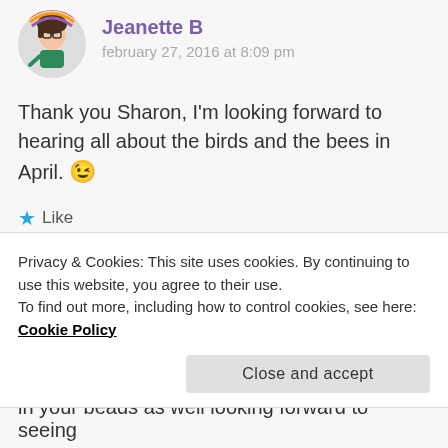Jeanette B
february 27, 2016 at 8:09 pm
Thank you Sharon, I'm looking forward to hearing all about the birds and the bees in April. 😉
★ Like
Reply
[Figure (logo): Pixel/mosaic style avatar logo for trendviewelrydesignsbykristyle]
trendviewelrydesignsbykristyle
Privacy & Cookies: This site uses cookies. By continuing to use this website, you agree to their use.
To find out more, including how to control cookies, see here: Cookie Policy
Close and accept
in your beads as well looking forward to seeing